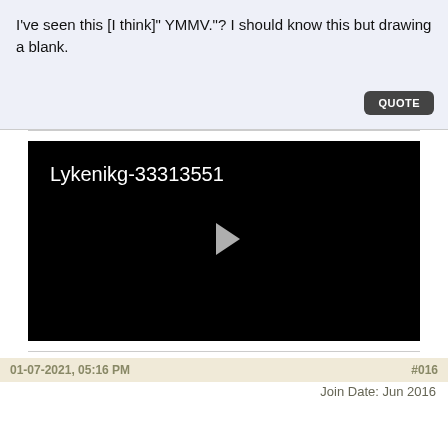I've seen this [I think]" YMMV."? I should know this but drawing a blank.
[Figure (screenshot): Black video player with text 'Lykenikg-33313551' in top-left and a gray play button triangle in the center]
01-07-2021, 05:16 PM    #016
Join Date: Jun 2016